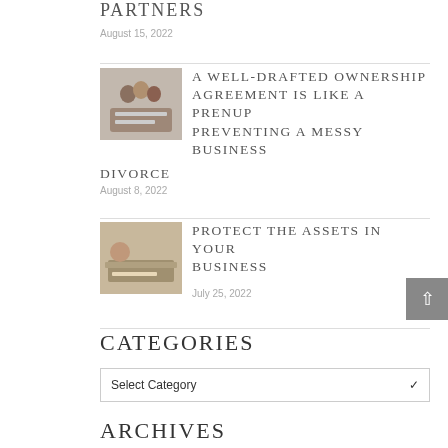Partners
August 15, 2022
[Figure (photo): Group of people in a business meeting]
A Well-Drafted Ownership Agreement is Like a Prenup Preventing a Messy Business Divorce
August 8, 2022
[Figure (photo): Person typing on a keyboard]
Protect the Assets in Your Business
July 25, 2022
Categories
Select Category
Archives